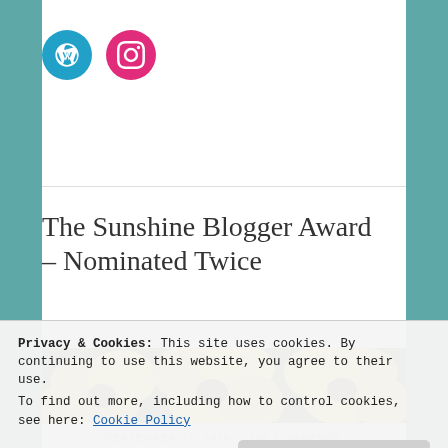[Figure (logo): WordPress and Instagram social media icon circles at top of page]
The Sunshine Blogger Award – Nominated Twice
[Figure (photo): Close-up photograph of bright yellow sunflowers]
Privacy & Cookies: This site uses cookies. By continuing to use this website, you agree to their use.
To find out more, including how to control cookies, see here: Cookie Policy
SEPTEMBER 17, 2020 — 101 COMMENTS